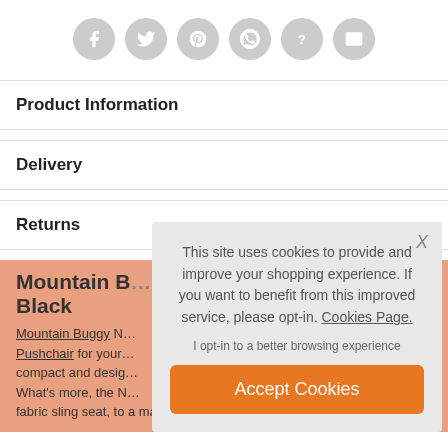[Figure (other): Row of 6 circular social sharing icon buttons (Facebook, Twitter, Pinterest, WhatsApp, Question, Email) in grey on white background]
Product Information
Delivery
Returns
Mountain B… Black
Mountain Buggy N… Pushchair for your … compact and desig… What's more, the N… fabric sling seat, to a maximum weight of 20 kg.
This site uses cookies to provide and improve your shopping experience. If you want to benefit from this improved service, please opt-in. Cookies Page.

I opt-in to a better browsing experience

Accept Cookies